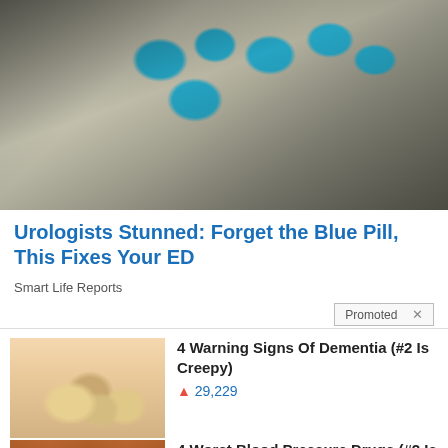[Figure (photo): Close-up photo of blister packs containing blue diamond-shaped pills (sildenafil/Viagra) against a dark background]
Urologists Stunned: Forget the Blue Pill, This Fixes Your ED
Smart Life Reports
Promoted ×
[Figure (photo): Close-up photo of a hand holding yellow-tipped or discolored fingernails]
4 Warning Signs Of Dementia (#2 Is Creepy)
🔥 29,229
[Figure (photo): Photo of multiple brown prescription medicine bottles lined up]
4 Worst Blood Pressure Drugs (#2 Is Scary)
🔥 47,035